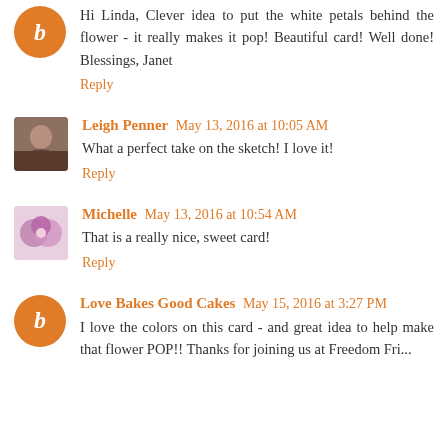Hi Linda, Clever idea to put the white petals behind the flower - it really makes it pop! Beautiful card! Well done! Blessings, Janet
Reply
Leigh Penner May 13, 2016 at 10:05 AM
What a perfect take on the sketch! I love it!
Reply
Michelle May 13, 2016 at 10:54 AM
That is a really nice, sweet card!
Reply
Love Bakes Good Cakes May 15, 2016 at 3:27 PM
I love the colors on this card - and great idea to help make that flower POP!! Thanks for joining us at Freedom Fri...